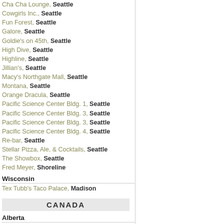Cha Cha Lounge, Seattle
Cowgirls Inc., Seattle
Fun Forest, Seattle
Galore, Seattle
Goldie's on 45th, Seattle
High Dive, Seattle
Highline, Seattle
Jillian's, Seattle
Macy's Northgate Mall, Seattle
Montana, Seattle
Orange Dracula, Seattle
Pacific Science Center Bldg. 1, Seattle
Pacific Science Center Bldg. 3, Seattle
Pacific Science Center Bldg. 3, Seattle
Pacific Science Center Bldg. 4, Seattle
Re-bar, Seattle
Stellar Pizza, Ale, & Cocktails, Seattle
The Showbox, Seattle
Fred Meyer, Shoreline
Wisconsin
Tex Tubb's Taco Palace, Madison
CANADA
Alberta
Calgary Greyhound Station, Calgary
Chinook Centre, Calgary
Deerfoot Mall, Calgary
Eau Claire Market, Calgary
North Hill Centre, Calgary
Northland Village Mall I, Calgary
Northland Village Mall II, Calgary
Bonnie Doon Shopping Centre, Edmonton